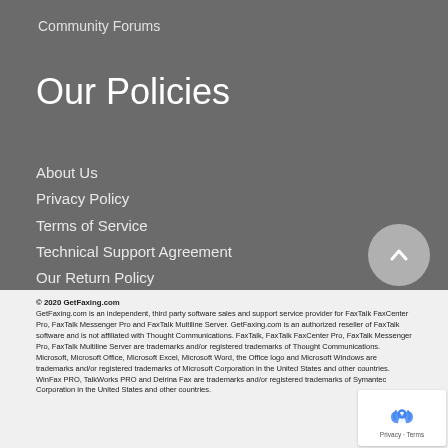Community Forums
Our Policies
About Us
Privacy Policy
Terms of Service
Technical Support Agreement
Our Return Policy
© 2020 GetFaxing.com
GetFaxing.com is an independent, third party software sales and support service provider for FaxTalk FaxCenter Pro, FaxTalk Messenger Pro and FaxTalk Multiline Server. GetFaxing.com is an authorized reseller of FaxTalk software and is not affiliated with Thought Communications. FaxTalk, FaxTalk FaxCenter Pro, FaxTalk Messenger Pro, FaxTalk Multiline Server are trademarks and/or registered trademarks of Thought Communications. Microsoft, Microsoft Office, Microsoft Excel, Microsoft Word, the Office logo and Microsoft Windows are trademarks and/or registered trademarks of Microsoft Corporation in the United States and other countries. WinFax PRO, TalkWorks PRO and Delrina Fax are trademarks and/or registered trademarks of Symantec Corporation in the United States and other countries.